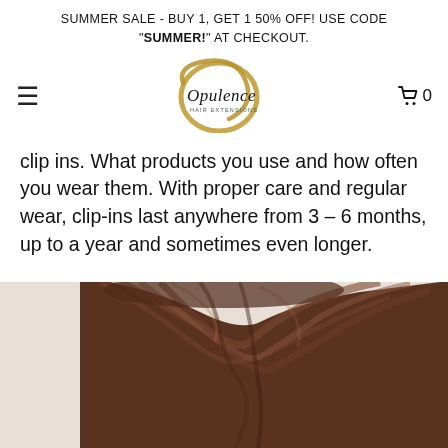SUMMER SALE - BUY 1, GET 1 50% OFF! USE CODE "SUMMER!" AT CHECKOUT.
[Figure (logo): Opulence hair extensions logo — circular gold/brown brushstroke ring with 'Opulence' script text inside]
clip ins. What products you use and how often you wear them. With proper care and regular wear, clip-ins last anywhere from 3 – 6 months, up to a year and sometimes even longer.
[Figure (photo): Close-up photo of a woman's brown wavy hair, top of head visible, light background]